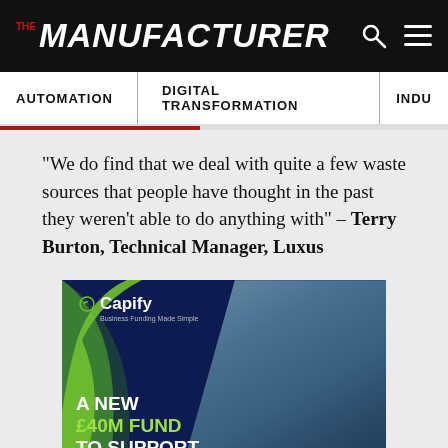THE MANUFACTURER
AUTOMATION | DIGITAL TRANSFORMATION | INDU...
“We do find that we deal with quite a few waste sources that people have thought in the past they weren’t able to do anything with” – Terry Burton, Technical Manager, Luxus
[Figure (illustration): Capify advertisement: A NEW £40M FUND TO SUPPORT YOUR BUSINESS. Two workers in hi-vis jackets and hard hats examining a laptop. Capify logo with tagline Business Funding Made Simple. Dark navy background with green accent.]